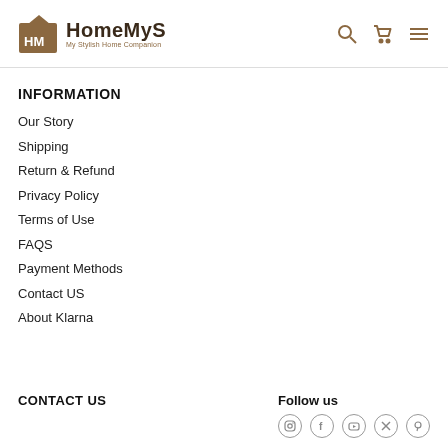HomeMyS My Stylish Home Companion
INFORMATION
Our Story
Shipping
Return & Refund
Privacy Policy
Terms of Use
FAQS
Payment Methods
Contact US
About Klarna
CONTACT US
Follow us